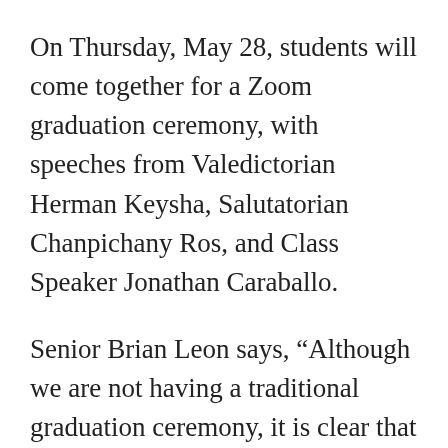On Thursday, May 28, students will come together for a Zoom graduation ceremony, with speeches from Valedictorian Herman Keysha, Salutatorian Chanpichany Ros, and Class Speaker Jonathan Caraballo.
Senior Brian Leon says, “Although we are not having a traditional graduation ceremony, it is clear that KIPP is doing everything that they can to make sure that...